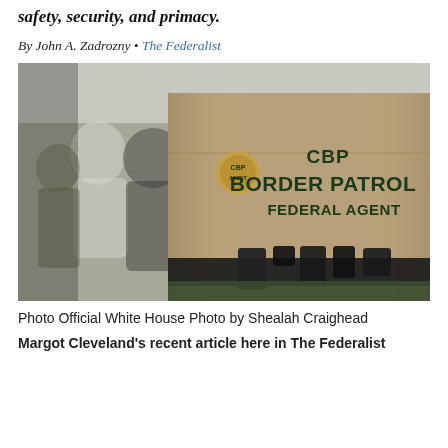safety, security, and primacy.
By John A. Zadrozny • The Federalist
[Figure (photo): Back view of a CBP Border Patrol Federal Agent in a tan uniform with tactical belt, with blurred group of people in the background outdoors.]
Photo Official White House Photo by Shealah Craighead
Margot Cleveland's recent article here in The Federalist